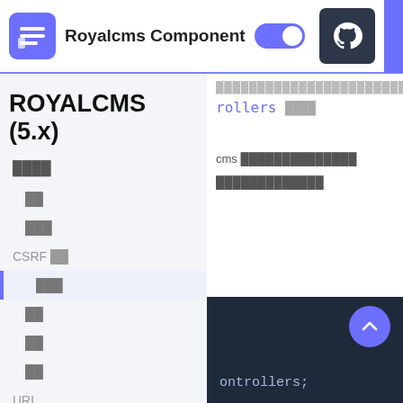Royalcms Component
ROYALCMS (5.x)
████
██
███
CSRF ██
███
██
██
██
URL
████████████████████████
rollers ████
cms ██████████████
█████████████
[Figure (screenshot): Code block showing: ontrollers;]